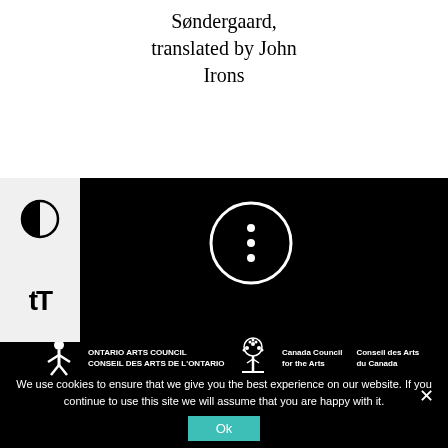Søndergaard, translated by John Irons
[Figure (screenshot): UI contrast toggle button with half-filled circle icon on light grey background]
[Figure (screenshot): UI text size toggle button with 'tT' icon on light grey background]
[Figure (screenshot): Three dots menu button in white circle outline on black background]
[Figure (logo): Ontario Arts Council / Conseil des Arts de l'Ontario logo with stylized figure icon]
[Figure (logo): Canada Council for the Arts / Conseil des Arts du Canada logo with tree icon]
We use cookies to ensure that we give you the best experience on our website. If you continue to use this site we will assume that you are happy with it.